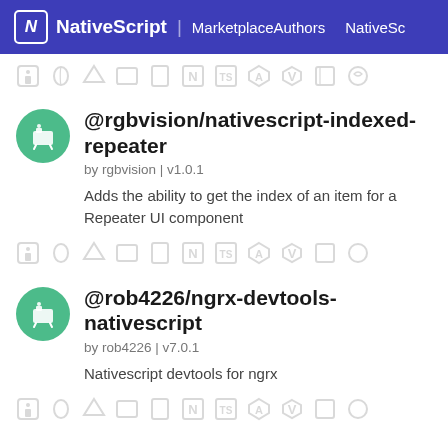NativeScript | MarketplaceAuthors NativeSc…
[Figure (other): Row of platform/framework icon badges (Android, Apple, 3D, tablet, N, TS, Angular, Vue, etc.) — light gray]
@rgbvision/nativescript-indexed-repeater
by rgbvision | v1.0.1
Adds the ability to get the index of an item for a Repeater UI component
[Figure (other): Row of platform/framework icon badges — light gray]
@rob4226/ngrx-devtools-nativescript
by rob4226 | v7.0.1
Nativescript devtools for ngrx
[Figure (other): Row of platform/framework icon badges — light gray (partial, cut off)]